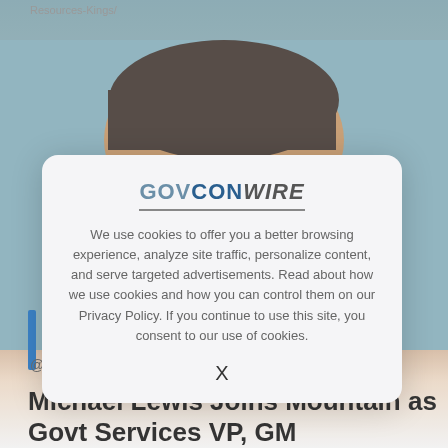Resources-Kings/
[Figure (photo): Portrait photo of a man (upper half of face visible), with teal/grey background. Blue vertical bar visible on left side.]
We use cookies to offer you a better browsing experience, analyze site traffic, personalize content, and serve targeted advertisements. Read about how we use cookies and how you can control them on our Privacy Policy. If you continue to use this site, you consent to our use of cookies.
X
@
Michael Lewis Joins Mountain as Govt Services VP, GM